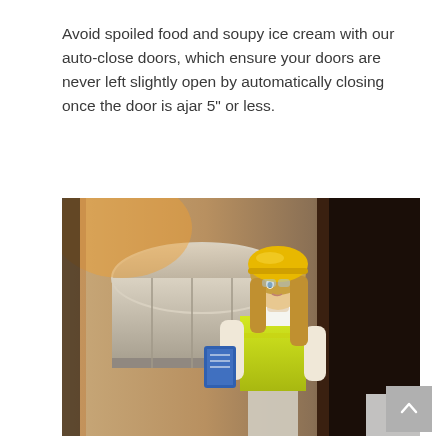Avoid spoiled food and soupy ice cream with our auto-close doors, which ensure your doors are never left slightly open by automatically closing once the door is ajar 5" or less.
[Figure (photo): A female worker wearing a yellow hard hat and bright yellow-green safety vest, holding a blue clipboard, looking upward at large industrial refrigeration or HVAC equipment in a facility. The background shows metal ductwork and a dark wall/door.]